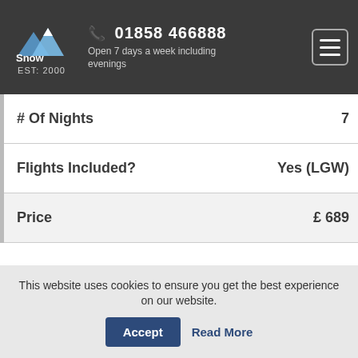Snow Finders EST: 2000 | 01858 466888 | Open 7 days a week including evenings
| # Of Nights | 7 |
| Flights Included? | Yes (LGW) |
| Price | £ 689 |
This website uses cookies to ensure you get the best experience on our website. Accept | Read More